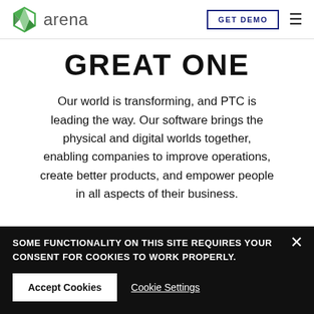arena | GET DEMO
GREAT ONE
Our world is transforming, and PTC is leading the way. Our software brings the physical and digital worlds together, enabling companies to improve operations, create better products, and empower people in all aspects of their business.
SOME FUNCTIONALITY ON THIS SITE REQUIRES YOUR CONSENT FOR COOKIES TO WORK PROPERLY.
Accept Cookies
Cookie Settings